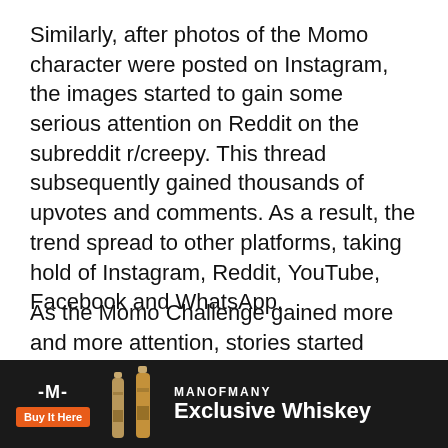Similarly, after photos of the Momo character were posted on Instagram, the images started to gain some serious attention on Reddit on the subreddit r/creepy. This thread subsequently gained thousands of upvotes and comments. As a result, the trend spread to other platforms, taking hold of Instagram, Reddit, YouTube, Facebook and WhatsApp.
As the Momo Challenge gained more and more attention, stories started appearing that raised the question whether Momo is real and whether Momo is dangerous. Whilst definitely a real virtual thread, any version of a real-life Momo did not and still does not exist. This may come as pleasant news, and also means that no, Momo is not dangerous. Momo is only real an[d] ... mallea[ble] ... does
[Figure (infographic): Advertisement banner for ManOfMany Exclusive Whiskey. Dark/black background with ManOfMany logo (M icon), an orange 'Buy It Here' button, whiskey bottle images, 'MANOFMANY' brand text, and 'Exclusive Whiskey' headline in white bold text.]